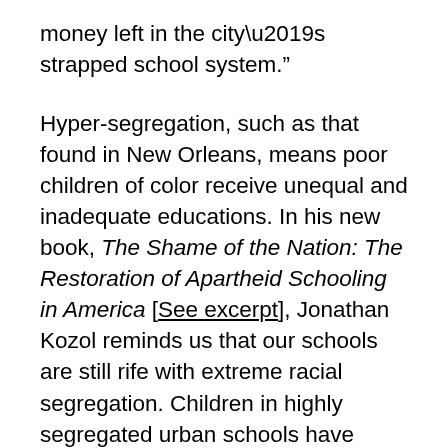money left in the city’s strapped school system.”
Hyper-segregation, such as that found in New Orleans, means poor children of color receive unequal and inadequate educations. In his new book, The Shame of the Nation: The Restoration of Apartheid Schooling in America [See excerpt], Jonathan Kozol reminds us that our schools are still rife with extreme racial segregation. Children in highly segregated urban schools have worse facilities, lower paid and less-trained teachers and staff, access to fewer classroom and school resources, and are regularly subjected